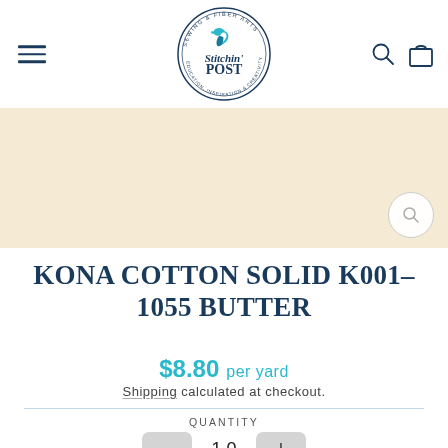[Figure (logo): Stitchin' Post sewing and fiber arts circular logo with hummingbird, in navy blue]
[Figure (photo): Beige/butter colored fabric product image area]
KONA COTTON SOLID K001-1055 BUTTER
$8.80 per yard
Shipping calculated at checkout.
QUANTITY
1.0